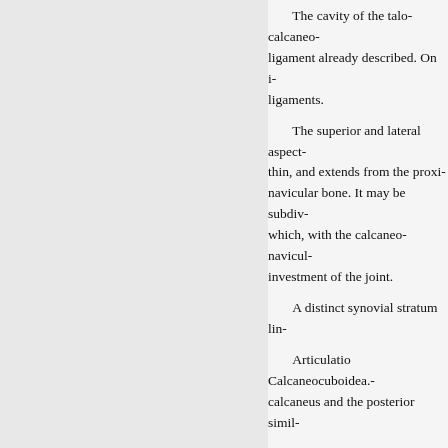The cavity of the talo-calcaneo- ligament already described. On i- ligaments.
The superior and lateral aspect thin, and extends from the proxi- navicular bone. It may be subdiv- which, with the calcaneo-navicul- investment of the joint.
A distinct synovial stratum lin-
Articulatio Calcaneocuboidea. calcaneus and the posterior simil-
The ligaments which invest th- relation to the four non-articular in relation to their great importan-
The medial calcaneo-cuboid li- sinus tarsi. It is the calcaneo-cub- single end is attached to the calca- navicular and cuboid respectively-
The dorsal calcaneo-cuboid lig- extending from the dorsal and lat-
The lateral calcaneo-cuboid l-